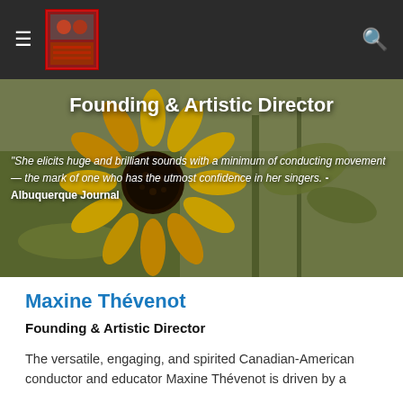Navigation bar with hamburger menu, logo, and search icon
[Figure (photo): Hero photo of yellow sunflower (black-eyed Susan) against a muted green/gray garden background. Overlaid with page title and pull quote.]
Founding & Artistic Director
"She elicits huge and brilliant sounds with a minimum of conducting movement — the mark of one who has the utmost confidence in her singers. - Albuquerque Journal
Maxine Thévenot
Founding & Artistic Director
The versatile, engaging, and spirited Canadian-American conductor and educator Maxine Thévenot is driven by a